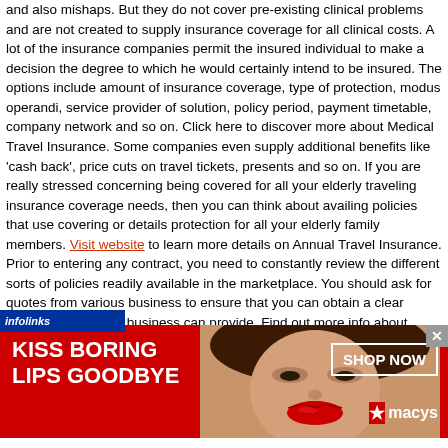and also mishaps. But they do not cover pre-existing clinical problems and are not created to supply insurance coverage for all clinical costs. A lot of the insurance companies permit the insured individual to make a decision the degree to which he would certainly intend to be insured. The options include amount of insurance coverage, type of protection, modus operandi, service provider of solution, policy period, payment timetable, company network and so on. Click here to discover more about Medical Travel Insurance. Some companies even supply additional benefits like 'cash back', price cuts on travel tickets, presents and so on. If you are really stressed concerning being covered for all your elderly traveling insurance coverage needs, then you can think about availing policies that use covering or details protection for all your elderly family members. Visit website to learn more details on Annual Travel Insurance. Prior to entering any contract, you need to constantly review the different sorts of policies readily available in the marketplace. You should ask for quotes from various business to ensure that you can obtain a clear image of what each business can provide. Find out more info about Single Trip Travel Insurance. It is very crucial that you have a look at the various offers meticulously prior to choosing one
[Figure (infographic): Infolinks advertisement bar at the bottom of the article content, followed by a Macy's lipstick advertisement banner with text 'KISS BORING LIPS GOODBYE' and 'SHOP NOW' with Macy's star logo on red background with a woman's face.]